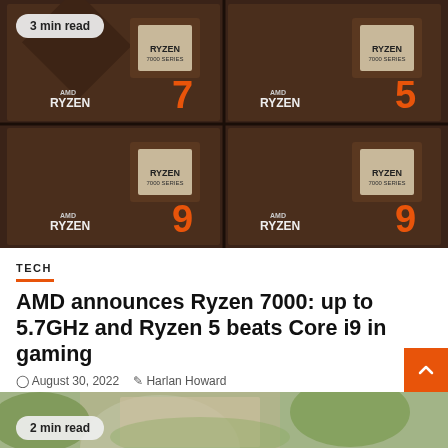[Figure (photo): Four AMD Ryzen 7000 series processor boxes arranged in a 2x2 grid on a dark background. Top row shows Ryzen 7 and Ryzen 5 boxes; bottom row shows two Ryzen 9 boxes. Each box features the AMD Ryzen logo and an orange series number.]
3 min read
TECH
AMD announces Ryzen 7000: up to 5.7GHz and Ryzen 5 beats Core i9 in gaming
August 30, 2022  Harlan Howard
[Figure (photo): Partial photo of a white cat or animal with green foliage in background. Bottom of next article card.]
2 min read